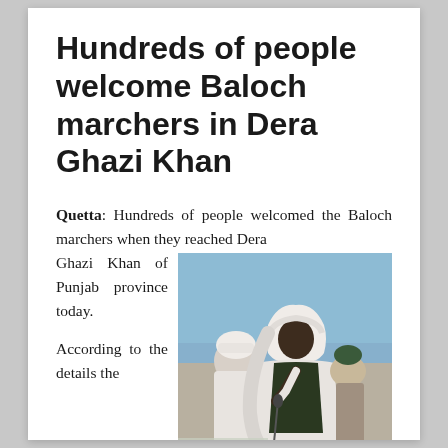Hundreds of people welcome Baloch marchers in Dera Ghazi Khan
Quetta: Hundreds of people welcomed the Baloch marchers when they reached Dera Ghazi Khan of Punjab province today.

According to the details the
[Figure (photo): A man in white robes and white turban speaking at a microphone, with other people in traditional dress visible behind him, outdoors with a blue sky background.]